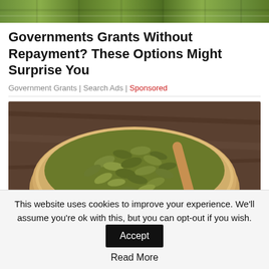[Figure (photo): Green striped decorative background image at top of page]
Governments Grants Without Repayment? These Options Might Surprise You
Government Grants | Search Ads | Sponsored
[Figure (photo): A wooden bowl filled with green pumpkin seeds next to a wooden spoon with pumpkin seeds on a rustic wooden surface]
This website uses cookies to improve your experience. We'll assume you're ok with this, but you can opt-out if you wish. Accept Read More